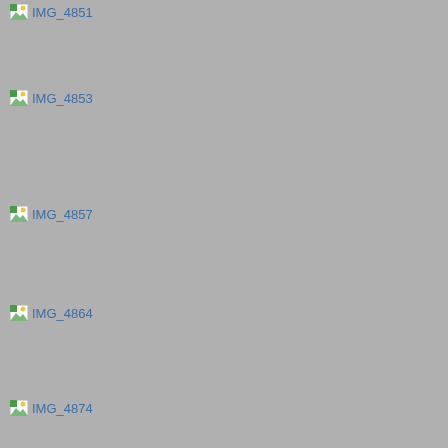[Figure (photo): Broken image placeholder labeled IMG_4851]
[Figure (photo): Broken image placeholder labeled IMG_4853]
[Figure (photo): Broken image placeholder labeled IMG_4857]
[Figure (photo): Broken image placeholder labeled IMG_4864]
[Figure (photo): Broken image placeholder labeled IMG_4874]